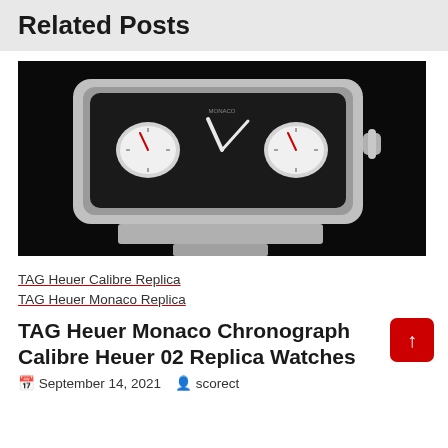Related Posts
[Figure (photo): A TAG Heuer Monaco Chronograph watch with stainless steel case and bracelet, black dial with two sub-dials, photographed against a black background]
TAG Heuer Calibre Replica
TAG Heuer Monaco Replica
TAG Heuer Monaco Chronograph Calibre Heuer 02 Replica Watches
September 14, 2021  scorect